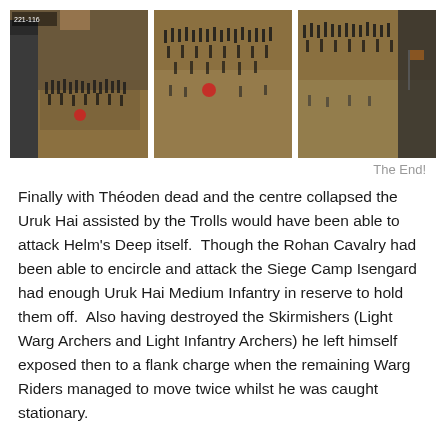[Figure (photo): Three side-by-side photographs of a tabletop wargame battle scene showing miniature troops on a terrain board resembling Helm's Deep from Lord of the Rings.]
The End!
Finally with Théoden dead and the centre collapsed the Uruk Hai assisted by the Trolls would have been able to attack Helm's Deep itself.  Though the Rohan Cavalry had been able to encircle and attack the Siege Camp Isengard had enough Uruk Hai Medium Infantry in reserve to hold them off.  Also having destroyed the Skirmishers (Light Warg Archers and Light Infantry Archers) he left himself exposed then to a flank charge when the remaining Warg Riders managed to move twice whilst he was caught stationary.